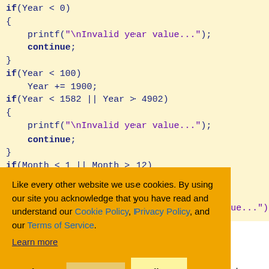Code block showing C if-statements for year validation with printf and continue statements
Like every other website we use cookies. By using our site you acknowledge that you have read and understand our Cookie Policy, Privacy Policy, and our Terms of Service. Learn more
dation, like year nters year in yy e it as 1998. The m 1952 to 4902. Any year entered beyond this range will not be accepted